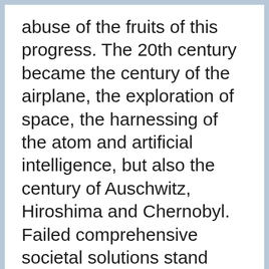abuse of the fruits of this progress. The 20th century became the century of the airplane, the exploration of space, the harnessing of the atom and artificial intelligence, but also the century of Auschwitz, Hiroshima and Chernobyl. Failed comprehensive societal solutions stand alongside ever more limited social progress. The lived